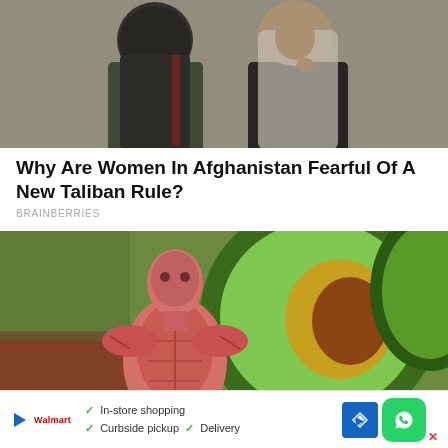[Figure (photo): Two women wearing hijabs and face coverings standing outdoors against a stone wall background]
Why Are Women In Afghanistan Fearful Of A New Taliban Rule?
BRAINBERRIES
[Figure (photo): Composite image of an anatomical muscle figure overlaid on a photo of avocados]
[Figure (screenshot): Advertisement bar showing In-store shopping, Curbside pickup, and Delivery options with a red brand logo, navigation arrow icon, and WhatsApp button]